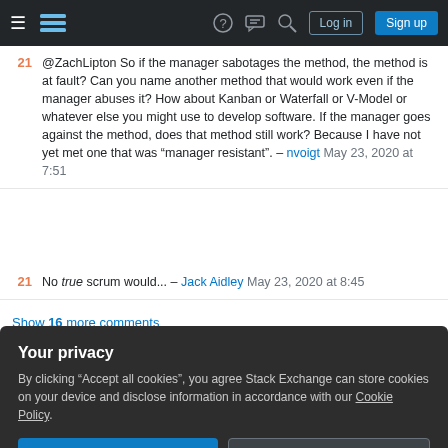Stack Exchange navigation bar with hamburger menu, logo, help, chat, search icons, Log in and Sign up buttons
@ZachLipton So if the manager sabotages the method, the method is at fault? Can you name another method that would work even if the manager abuses it? How about Kanban or Waterfall or V-Model or whatever else you might use to develop software. If the manager goes against the method, does that method still work? Because I have not yet met one that was "manager resistant". – nvoigt May 23, 2020 at 7:51
No true scrum would... – Jack Aidley May 23, 2020 at 8:45
Show 16 more comments
Your privacy
By clicking "Accept all cookies", you agree Stack Exchange can store cookies on your device and disclose information in accordance with our Cookie Policy.
Accept all cookies  Customize settings
The Daily Scrum is a 15-minute time-